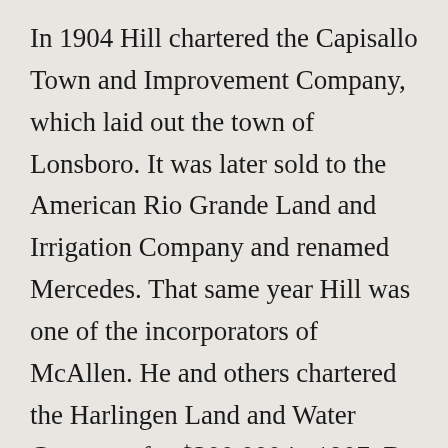In 1904 Hill chartered the Capisallo Town and Improvement Company, which laid out the town of Lonsboro. It was later sold to the American Rio Grande Land and Irrigation Company and renamed Mercedes. That same year Hill was one of the incorporators of McAllen. He and others chartered the Harlingen Land and Water Company for $300,000 in 1907. By November 15, 1907, he certified that the company was operating twenty-six miles of canals and that 75,000 acres was under irrigation or being prepared for it. The Hill Sugar Mill was in operation in Harlingen by November 1911. Hill participated in passing the original state law governing irrigation districts, and on August 10, 1914, Cameron County Irrigation District No. 1 was established.